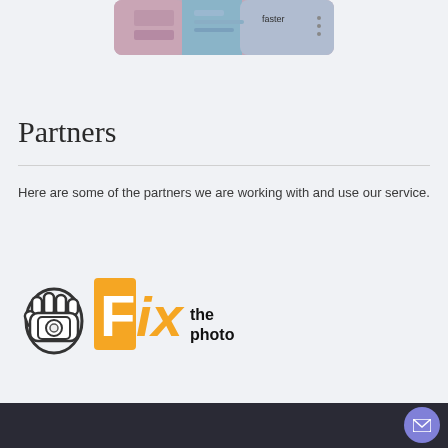[Figure (screenshot): Partial screenshot of a UI with text 'faster' and colored interface elements]
Partners
Here are some of the partners we are working with and use our service.
[Figure (logo): Fix the photo logo — hand holding camera with yellow bold 'Fix' text and black 'the photo' text]